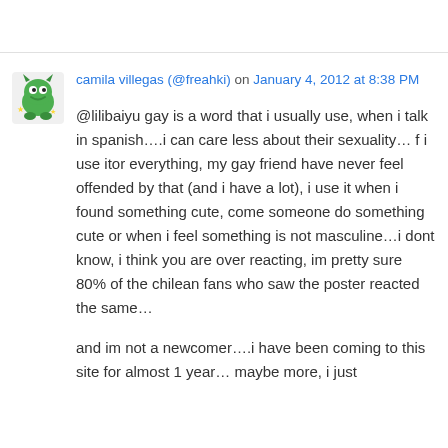camila villegas (@freahki) on January 4, 2012 at 8:38 PM
@lilibaiyu gay is a word that i usually use, when i talk in spanish….i can care less about their sexuality… f i use itor everything, my gay friend have never feel offended by that (and i have a lot), i use it when i found something cute, come someone do something cute or when i feel something is not masculine…i dont know, i think you are over reacting, im pretty sure 80% of the chilean fans who saw the poster reacted the same…
and im not a newcomer….i have been coming to this site for almost 1 year… maybe more, i just